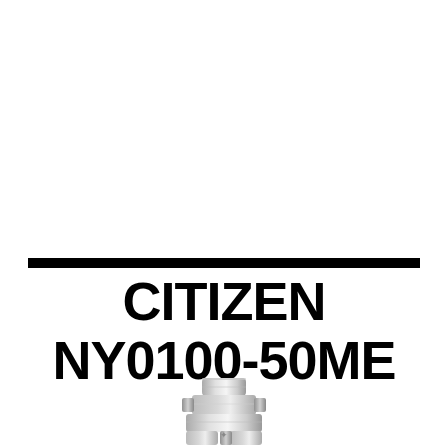CITIZEN NY0100-50ME
[Figure (photo): Bottom portion of a Citizen watch showing the crown/case and bracelet links in stainless steel, photographed from above on a white background.]